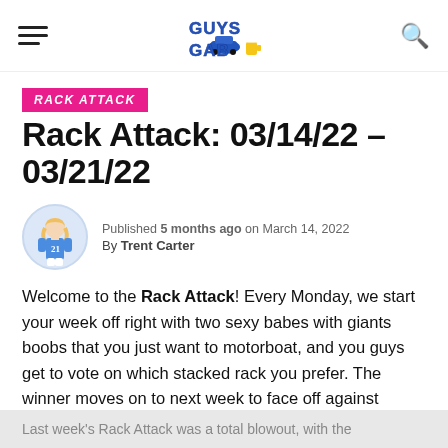GUYS GAB [logo] [hamburger menu] [search icon]
RACK ATTACK
Rack Attack: 03/14/22 - 03/21/22
Published 5 months ago on March 14, 2022
By Trent Carter
Welcome to the Rack Attack! Every Monday, we start your week off right with two sexy babes with giants boobs that you just want to motorboat, and you guys get to vote on which stacked rack you prefer. The winner moves on to next week to face off against another competitor.
Last week's Rack Attack was a total blowout, with the